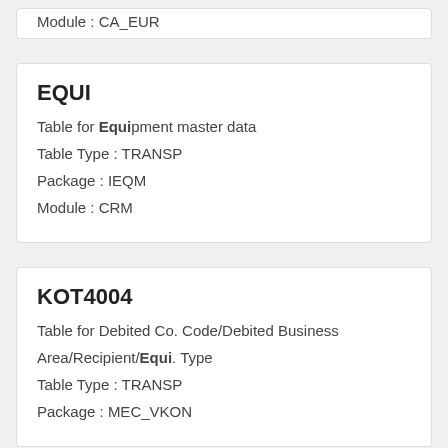Module : CA_EUR
EQUI
Table for Equipment master data
Table Type : TRANSP
Package : IEQM
Module : CRM
KOT4004
Table for Debited Co. Code/Debited Business Area/Recipient/Equi. Type
Table Type : TRANSP
Package : MEC_VKON